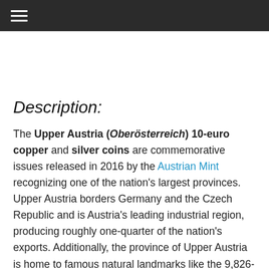☰
Description:
The Upper Austria (Oberösterreich) 10-euro copper and silver coins are commemorative issues released in 2016 by the Austrian Mint recognizing one of the nation's largest provinces. Upper Austria borders Germany and the Czech Republic and is Austria's leading industrial region, producing roughly one-quarter of the nation's exports. Additionally, the province of Upper Austria is home to famous natural landmarks like the 9,826-foot-tall peak of the Dachstein Mountains, the